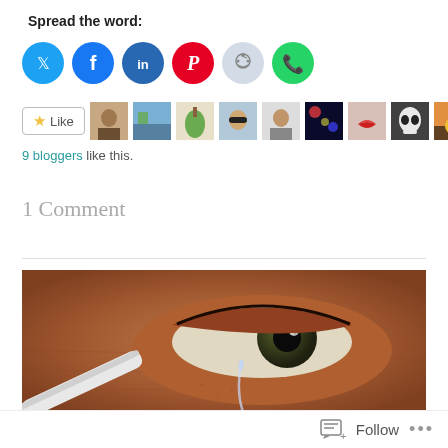Spread the word:
[Figure (other): Row of social sharing icon buttons: Twitter (blue), Facebook (dark blue), LinkedIn (blue), Pinterest (red), Reddit (light blue/grey), WhatsApp (green)]
[Figure (other): Like button with star icon followed by a row of 9 blogger avatar thumbnails]
9 bloggers like this.
1 Comment
[Figure (photo): Close-up macro photograph of a human eye with a tear, showing brown skin texture and detail, with a white object (possibly a cigarette or pen) at the bottom left]